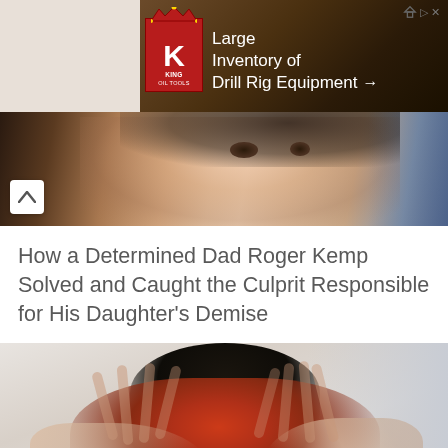[Figure (screenshot): Advertisement banner for King Oil Tools showing 'Large Inventory of Drill Rig Equipment' with company logo on dark brown background with drill imagery]
[Figure (photo): Partial photo of a young woman's face looking toward camera, cropped to show eyes and nose area, with chevron/up arrow button overlay on left side]
How a Determined Dad Roger Kemp Solved and Caught the Culprit Responsible for His Daughter's Demise
[Figure (photo): Photo of a person with dark hair holding their head in their hands with reddened/highlighted hands pressed against sides of their head, suggesting distress]